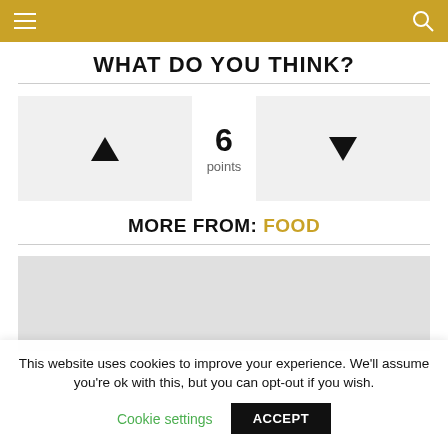WHAT DO YOU THINK?
[Figure (other): Vote up/down widget showing 6 points with upvote and downvote buttons]
MORE FROM: FOOD
[Figure (photo): Gray image placeholder for a food article]
This website uses cookies to improve your experience. We'll assume you're ok with this, but you can opt-out if you wish.
Cookie settings  ACCEPT